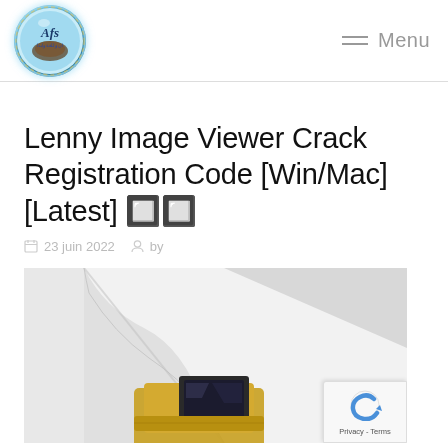[Figure (logo): Circular logo with blue/teal gradient background, hands design, and text inside]
≡ Menu
Lenny Image Viewer Crack Registration Code [Win/Mac] [Latest] 🔲🔲
📅 23 juin 2022  👤 by
[Figure (photo): Article image showing a gold ring with a dark gemstone on a light background]